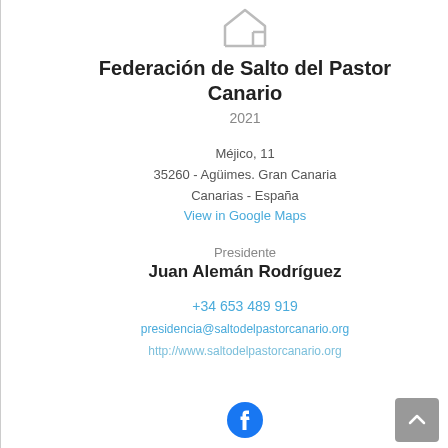[Figure (logo): Trapezoidal/house shape logo outline in gray]
Federación de Salto del Pastor Canario
2021
Méjico, 11
35260 - Agüimes. Gran Canaria
Canarias - España
View in Google Maps
Presidente
Juan Alemán Rodríguez
+34 653 489 919
presidencia@saltodelpastorcanario.org
http://www.saltodelpastorcanario.org
[Figure (logo): Facebook circular logo icon in blue]